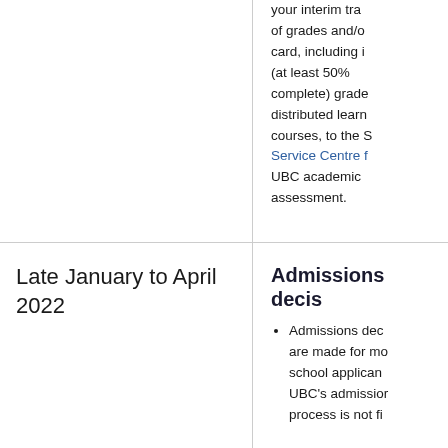your interim transcript of grades and/or report card, including interim (at least 50% complete) grades for distributed learning courses, to the Student Service Centre for UBC academic assessment.
Late January to April 2022
Admissions decisions
Admissions decisions are made for most school applicants. UBC's admissions process is not fi...